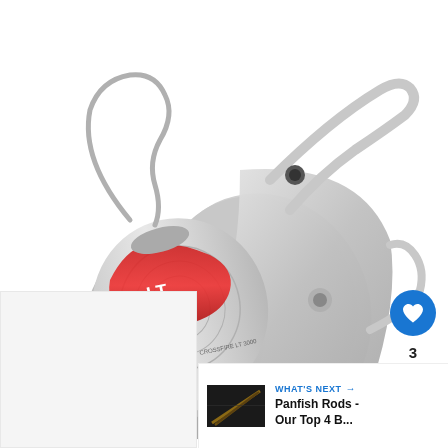[Figure (photo): A silver spinning fishing reel (Crossfire LT model) with red accents on the spool, black knob handle, and bail wire, photographed on a white background at an angle.]
[Figure (illustration): Blue circular heart/like button showing a white heart icon, with the number 3 below it, and a gray circular share button below that.]
3
[Figure (screenshot): WHAT'S NEXT panel showing a thumbnail of fishing rods and text: 'Panfish Rods - Our Top 4 B...']
Panfish Rods - Our Top 4 B...